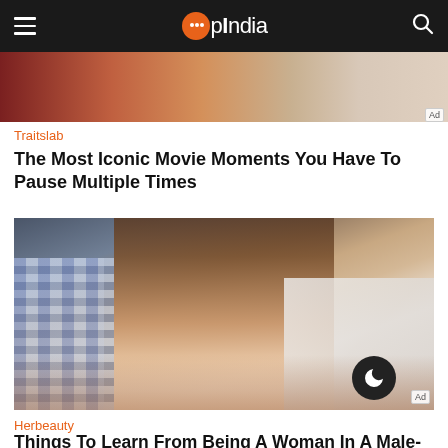OpIndia
[Figure (photo): Top advertisement image, partially visible, cropped.]
Traitslab
The Most Iconic Movie Moments You Have To Pause Multiple Times
[Figure (photo): Woman with curly brown hair leaning on a table, wearing a white shirt, in a crowded room. A man in a plaid shirt is partially visible on the left.]
Herbeauty
Things To Learn From Being A Woman In A Male-Dominated Industry